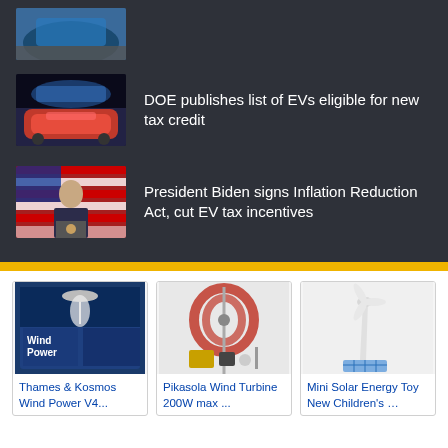[Figure (photo): Partial view of a blue electric vehicle from above, cropped at top]
[Figure (photo): Red Ford Mustang Mach-E electric SUV]
DOE publishes list of EVs eligible for new tax credit
[Figure (photo): President Biden speaking at a podium with American flag in background]
President Biden signs Inflation Reduction Act, cut EV tax incentives
[Figure (photo): Thames & Kosmos Wind Power V4 kit box]
Thames & Kosmos Wind Power V4...
[Figure (photo): Pikasola Wind Turbine 200W max with red vertical axis and accessories]
Pikasola Wind Turbine 200W max ...
[Figure (photo): Mini Solar Energy Toy wind turbine model]
Mini Solar Energy Toy New Children's ...